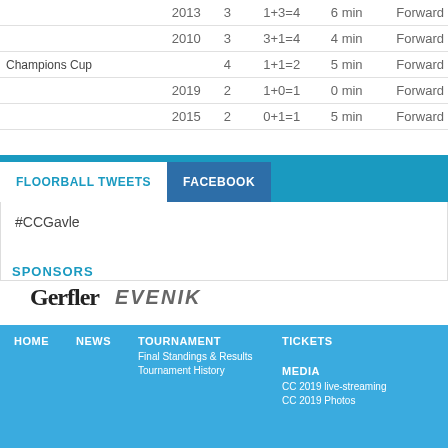| Competition | Year | GP | G+A=P | PIM | Position |
| --- | --- | --- | --- | --- | --- |
|  | 2013 | 3 | 1+3=4 | 6 min | Forward |
|  | 2010 | 3 | 3+1=4 | 4 min | Forward |
| Champions Cup |  | 4 | 1+1=2 | 5 min | Forward |
|  | 2019 | 2 | 1+0=1 | 0 min | Forward |
|  | 2015 | 2 | 0+1=1 | 5 min | Forward |
FLOORBALL TWEETS
FACEBOOK
#CCGavle
SPONSORS
[Figure (logo): Gerfler sponsor logo text]
[Figure (logo): EVENIK sponsor logo text]
HOME
NEWS
TOURNAMENT
Final Standings & Results
Tournament History
TICKETS
MEDIA
CC 2019 live-streaming
CC 2019 Photos